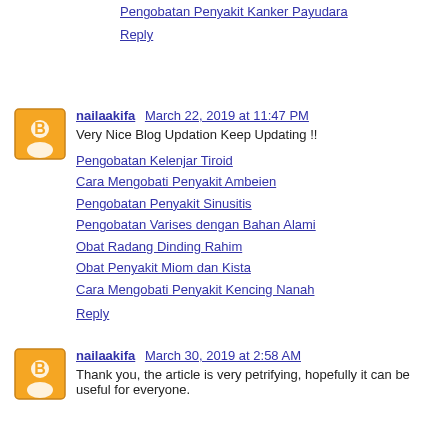Pengobatan Penyakit Kanker Payudara
Reply
nailaakifa  March 22, 2019 at 11:47 PM
Very Nice Blog Updation Keep Updating !!
Pengobatan Kelenjar Tiroid
Cara Mengobati Penyakit Ambeien
Pengobatan Penyakit Sinusitis
Pengobatan Varises dengan Bahan Alami
Obat Radang Dinding Rahim
Obat Penyakit Miom dan Kista
Cara Mengobati Penyakit Kencing Nanah
Reply
nailaakifa  March 30, 2019 at 2:58 AM
Thank you, the article is very petrifying, hopefully it can be useful for everyone.